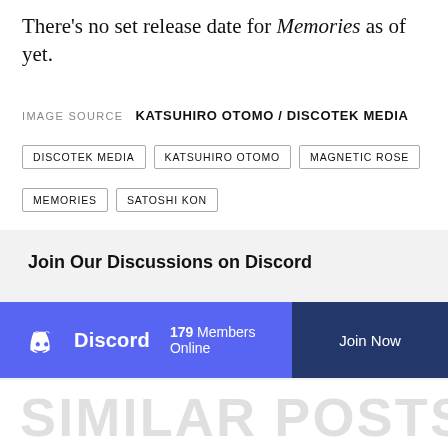There's no set release date for Memories as of yet.
IMAGE SOURCE   KATSUHIRO OTOMO / DISCOTEK MEDIA
DISCOTEK MEDIA
KATSUHIRO OTOMO
MAGNETIC ROSE
MEMORIES
SATOSHI KON
Join Our Discussions on Discord
[Figure (infographic): Discord banner with logo, '179 Members Online' text and 'Join Now' button on dark blue background, set within a purple/indigo strip]
SIMILAR POSTS